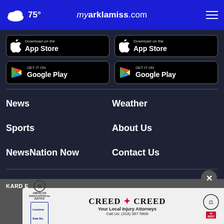75° myarklamiss.com
[Figure (screenshot): App Store download button (left)]
[Figure (screenshot): Google Play download button (left)]
[Figure (screenshot): App Store download button (right)]
[Figure (screenshot): Google Play download button (right)]
News
Weather
Sports
About Us
NewsNation Now
Contact Us
KARD B
[Figure (infographic): Advertisement for Creed & Creed Your Local Injury Attorneys Call Us: (318) 387 5800]